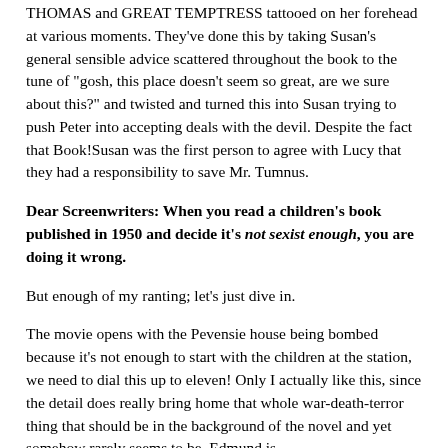THOMAS and GREAT TEMPTRESS tattooed on her forehead at various moments. They've done this by taking Susan's general sensible advice scattered throughout the book to the tune of "gosh, this place doesn't seem so great, are we sure about this?" and twisted and turned this into Susan trying to push Peter into accepting deals with the devil. Despite the fact that Book!Susan was the first person to agree with Lucy that they had a responsibility to save Mr. Tumnus.
Dear Screenwriters: When you read a children's book published in 1950 and decide it's not sexist enough, you are doing it wrong.
But enough of my ranting; let's just dive in.
The movie opens with the Pevensie house being bombed because it's not enough to start with the children at the station, we need to dial this up to eleven! Only I actually like this, since the detail does really bring home that whole war-death-terror thing that should be in the background of the novel and yet somehow rarely seems to be. Edmund is